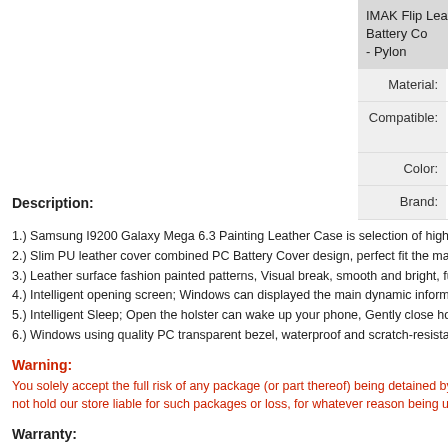|  |  |
| --- | --- |
|  | IMAK Flip Leather Case Holster Painting Battery Co... - Pylon |
| Material: | PU leather + PC material |
| Compatible: | Samsung I9200 i9205 Galaxy Meg... |
| Color: | Pylon |
| Brand: | 100% IMAK Brand New |
Description:
1.) Samsung I9200 Galaxy Mega 6.3 Painting Leather Case is selection of high qu...
2.) Slim PU leather cover combined PC Battery Cover design, perfect fit the mach...
3.) Leather surface fashion painted patterns, Visual break, smooth and bright, full...
4.) Intelligent opening screen; Windows can displayed the main dynamic informati...
5.) Intelligent Sleep; Open the holster can wake up your phone, Gently close holst...
6.) Windows using quality PC transparent bezel, waterproof and scratch-resistant,...
Warning:
You solely accept the full risk of any package (or part thereof) being detained by c... not hold our store liable for such packages or loss, for whatever reason being una...
Warranty:
The items DO NOT comes with warranty. However, for customer benefits our store...